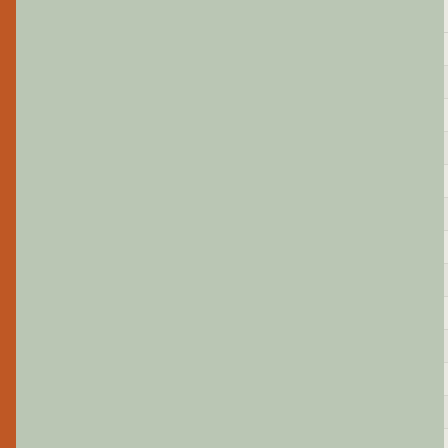| type | title |
| --- | --- |
|  | José Jacinto Mila... |
| writtenwork | La emboscada (Pl... |
| writtenwork | La esquina de los... |
| writtenwork | La gloria, un caba... |
| writtenwork | La Leyenda Arará... |
| writtenwork | La metáfora del c... |
| writtenwork | La mujer de carne... |
| writtenwork | La otra voz (Play s... |
| writtenwork | La paciencia del e... |
| writtenwork | Las mariposas salt... |
| writtenwork | Lienzo de mujer c... |
| writtenwork | Llegaron los Zanc... |
| writtenwork | Los Ibeyes y el Dia... |
| writtenwork | Los Pintores (Play... |
| writtenwork | Luzgarda explotó... |